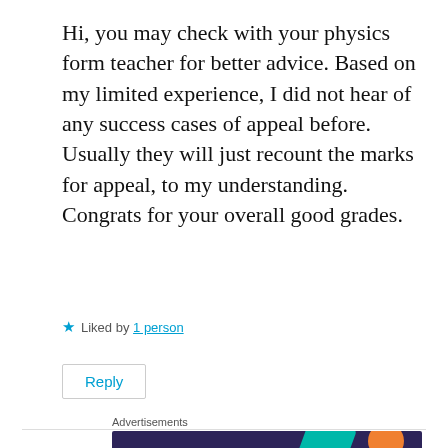Hi, you may check with your physics form teacher for better advice. Based on my limited experience, I did not hear of any success cases of appeal before. Usually they will just recount the marks for appeal, to my understanding. Congrats for your overall good grades.
★ Liked by 1 person
Reply
Advertisements
[Figure (illustration): WooCommerce advertisement banner with dark purple background, teal and orange decorative shapes, WooCommerce logo on left and text 'Turn your hobby into a business in 8 steps' on right]
REPORT THIS AD